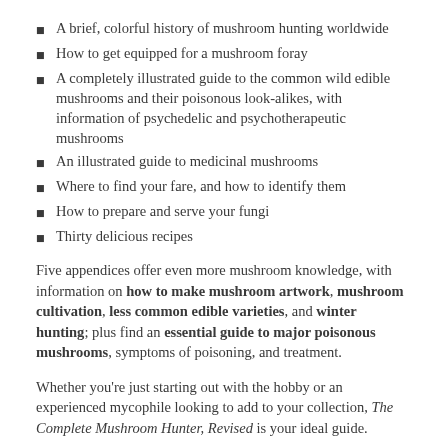A brief, colorful history of mushroom hunting worldwide
How to get equipped for a mushroom foray
A completely illustrated guide to the common wild edible mushrooms and their poisonous look-alikes, with information of psychedelic and psychotherapeutic mushrooms
An illustrated guide to medicinal mushrooms
Where to find your fare, and how to identify them
How to prepare and serve your fungi
Thirty delicious recipes
Five appendices offer even more mushroom knowledge, with information on how to make mushroom artwork, mushroom cultivation, less common edible varieties, and winter hunting; plus find an essential guide to major poisonous mushrooms, symptoms of poisoning, and treatment.
Whether you're just starting out with the hobby or an experienced mycophile looking to add to your collection, The Complete Mushroom Hunter, Revised is your ideal guide.